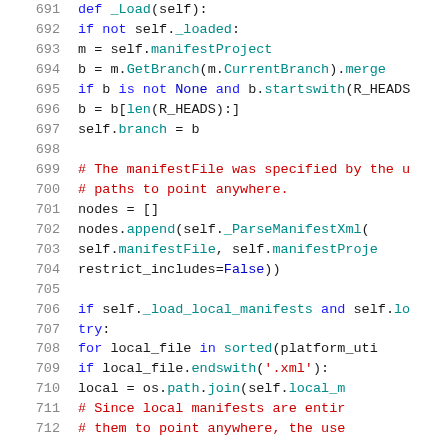Source code lines 691-712, Python code showing _Load method with manifest file handling logic